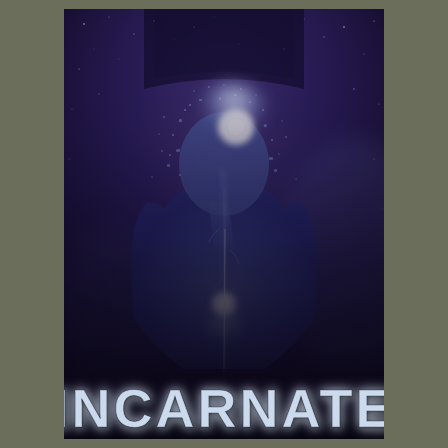[Figure (illustration): Book cover for 'INCARNATE'. A dramatic digital art image showing a male figure from the torso up, head bowed, with the body appearing to disintegrate or transform — the face and upper body crumbling into particles and glowing with intense white-blue light emanating from the head and chest area. A vertical streak of glowing white-blue energy runs down the center of the figure. The background is a deep space-like purple-blue, with stars and nebula-like mist. The figure's skin has a cracked, stone-like texture with deep purple-blue coloration. At the bottom of the cover, the title 'INCARNATE' is displayed in large, bold, distressed white letters.]
INCARNATE